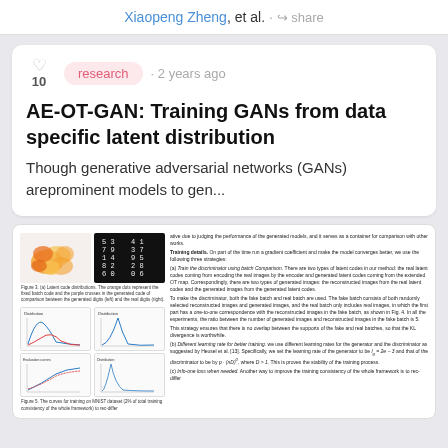Xiaopeng Zheng, et al. · share
research · 2 years ago
AE-OT-GAN: Training GANs from data specific latent distribution
Though generative adversarial networks (GANs) areprominent models to gen...
[Figure (screenshot): Preview of a scientific paper page showing figures of latent code distributions, training curves, and dense body text describing training details for AE-OT-GAN.]